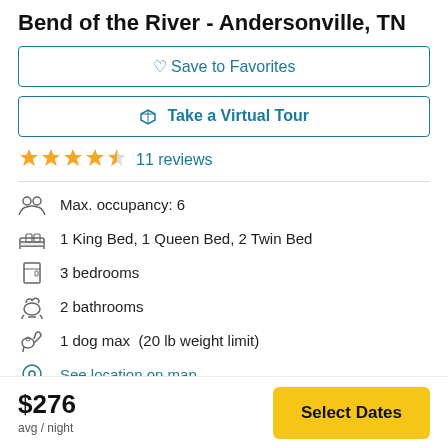Bend of the River - Andersonville, TN
Save to Favorites
Take a Virtual Tour
4.5 stars, 11 reviews
Max. occupancy: 6
1 King Bed, 1 Queen Bed, 2 Twin Bed
3 bedrooms
2 bathrooms
1 dog max  (20 lb weight limit)
See location on map
$276
avg / night
Select Dates